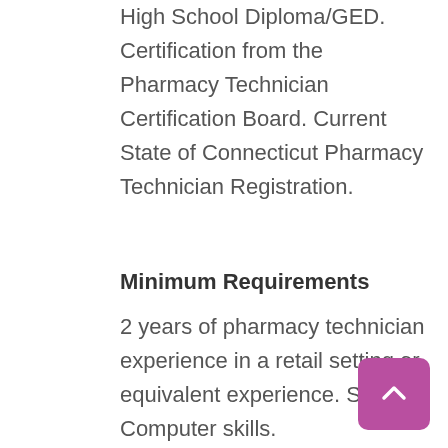High School Diploma/GED. Certification from the Pharmacy Technician Certification Board. Current State of Connecticut Pharmacy Technician Registration.
Minimum Requirements
2 years of pharmacy technician experience in a retail setting or equivalent experience. Strong Computer skills.